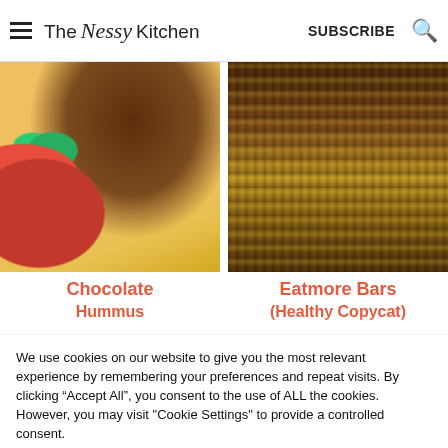The Nessy Kitchen  SUBSCRIBE
[Figure (photo): Left food photo: chocolate hummus in a white bowl with strawberries and pineapple slices]
[Figure (photo): Right food photo: stacked eatmore bars with nuts and chocolate, close-up]
Chocolate
Eatmore Bars
Hummus (partially visible)
(Healthy Copycat) (partially visible)
We use cookies on our website to give you the most relevant experience by remembering your preferences and repeat visits. By clicking “Accept All”, you consent to the use of ALL the cookies. However, you may visit "Cookie Settings" to provide a controlled consent.
Cookie Settings
Accept All